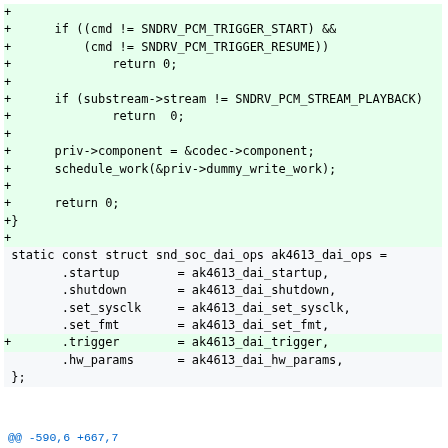[Figure (other): Code diff showing added lines (green background) and context lines for a C source file. Shows a function with PCM trigger/stream checks, priv/schedule_work calls, and a static const struct snd_soc_dai_ops definition.]
@@ -590,6 +667,7